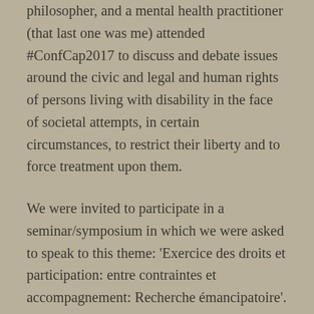philosopher, and a mental health practitioner (that last one was me) attended #ConfCap2017 to discuss and debate issues around the civic and legal and human rights of persons living with disability in the face of societal attempts, in certain circumstances, to restrict their liberty and to force treatment upon them.
We were invited to participate in a seminar/symposium in which we were asked to speak to this theme: 'Exercice des droits et participation: entre contraintes et accompagnement: Recherche émancipatoire'. We began by considering the implications of Clause (o) from the Preamble to the UN Convention on the Rights of Persons with Disabilities: